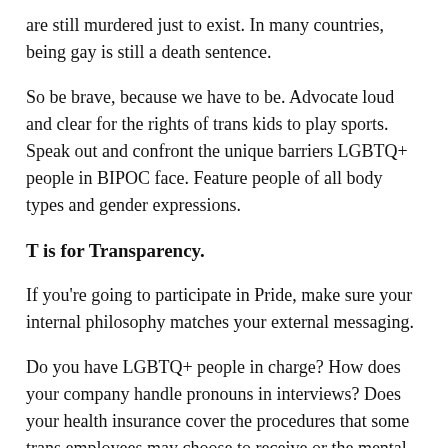are still murdered just to exist. In many countries, being gay is still a death sentence.
So be brave, because we have to be. Advocate loud and clear for the rights of trans kids to play sports. Speak out and confront the unique barriers LGBTQ+ people in BIPOC face. Feature people of all body types and gender expressions.
T is for Transparency.
If you're going to participate in Pride, make sure your internal philosophy matches your external messaging.
Do you have LGBTQ+ people in charge? How does your company handle pronouns in interviews? Does your health insurance cover the procedures that some trans employees may choose to receive or the mental health care that many LGBTQ+ people need to heal from the trauma inflicted by homophobia and transphobia?